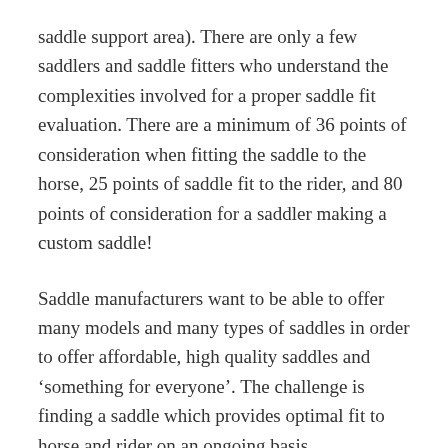saddle support area). There are only a few saddlers and saddle fitters who understand the complexities involved for a proper saddle fit evaluation. There are a minimum of 36 points of consideration when fitting the saddle to the horse, 25 points of saddle fit to the rider, and 80 points of consideration for a saddler making a custom saddle!
Saddle manufacturers want to be able to offer many models and many types of saddles in order to offer affordable, high quality saddles and ‘something for everyone’. The challenge is finding a saddle which provides optimal fit to horse and rider on an ongoing basis.